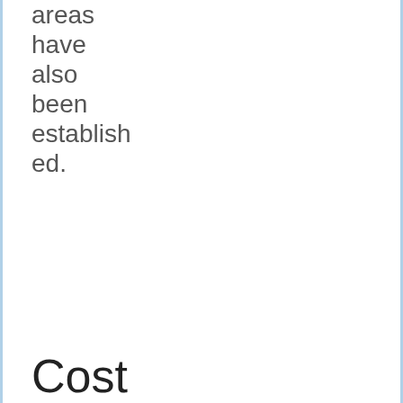areas have also been established.
Cost
If you are flying in from abroad, ticket fares will vary. The bus fares usually